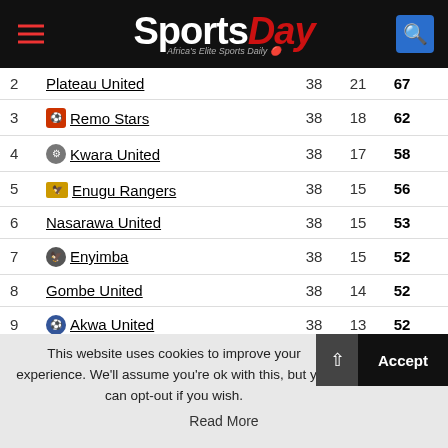SportsDay - Africa's Elite Sports Daily
| # | Club | P | W | Pts |
| --- | --- | --- | --- | --- |
| 2 | Plateau United | 38 | 21 | 67 |
| 3 | Remo Stars | 38 | 18 | 62 |
| 4 | Kwara United | 38 | 17 | 58 |
| 5 | Enugu Rangers | 38 | 15 | 56 |
| 6 | Nasarawa United | 38 | 15 | 53 |
| 7 | Enyimba | 38 | 15 | 52 |
| 8 | Gombe United | 38 | 14 | 52 |
| 9 | Akwa United | 38 | 13 | 52 |
| 10 | Wikki Tourist | 38 | 15 | 52 |
| 11 | Sunshine Stars | 38 | 14 | 51 |
| 12 | Niger Tornadoes | 38 | 15 | 51 |
| 13 | Abia Warriors | 38 | 13 | 50 |
| 14 | Akwa Starlets | 38 | 15 | 49 |
This website uses cookies to improve your experience. We'll assume you're ok with this, but you can opt-out if you wish.
Read More